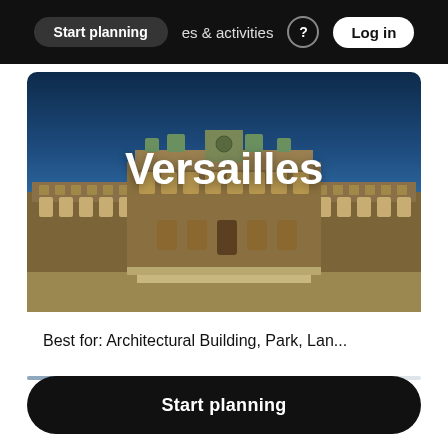Start planning   es & activities   Log in
[Figure (photo): Photograph of the Palace of Versailles courtyard with classical French baroque architecture under a deep blue sky, with the title 'Versailles' overlaid in bold white text]
Best for: Architectural Building, Park, Lan...
Start planning